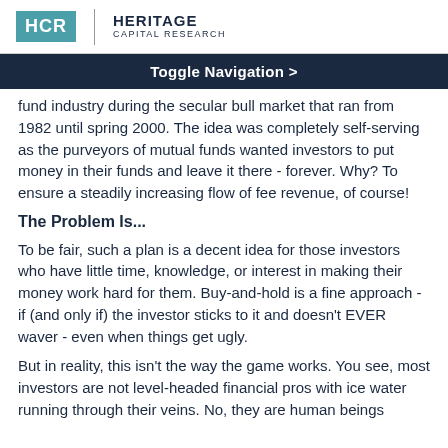HCR | HERITAGE CAPITAL RESEARCH
Toggle Navigation >
fund industry during the secular bull market that ran from 1982 until spring 2000. The idea was completely self-serving as the purveyors of mutual funds wanted investors to put money in their funds and leave it there - forever. Why? To ensure a steadily increasing flow of fee revenue, of course!
The Problem Is...
To be fair, such a plan is a decent idea for those investors who have little time, knowledge, or interest in making their money work hard for them. Buy-and-hold is a fine approach - if (and only if) the investor sticks to it and doesn't EVER waver - even when things get ugly.
But in reality, this isn't the way the game works. You see, most investors are not level-headed financial pros with ice water running through their veins. No, they are human beings